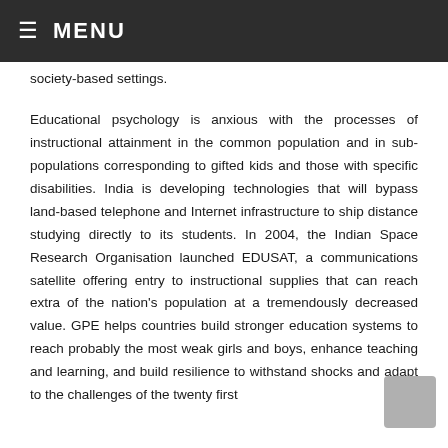≡ MENU
society-based settings.
Educational psychology is anxious with the processes of instructional attainment in the common population and in sub-populations corresponding to gifted kids and those with specific disabilities. India is developing technologies that will bypass land-based telephone and Internet infrastructure to ship distance studying directly to its students. In 2004, the Indian Space Research Organisation launched EDUSAT, a communications satellite offering entry to instructional supplies that can reach extra of the nation's population at a tremendously decreased value. GPE helps countries build stronger education systems to reach probably the most weak girls and boys, enhance teaching and learning, and build resilience to withstand shocks and adapt to the challenges of the twenty first